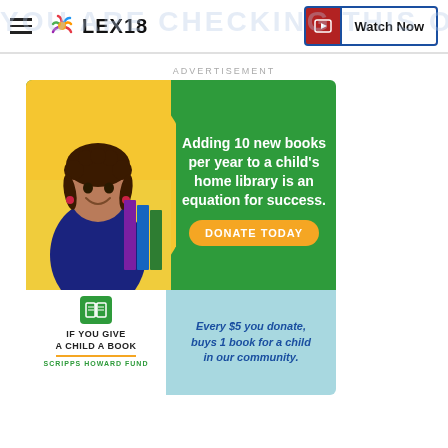LEX18 | Watch Now
ADVERTISEMENT
[Figure (infographic): Scripps Howard Fund 'If You Give a Child a Book' donation advertisement. Shows a smiling child with books on a green background. Text reads: Adding 10 new books per year to a child's home library is an equation for success. DONATE TODAY. If You Give a Child a Book - Scripps Howard Fund. Every $5 you donate, buys 1 book for a child in our community.]